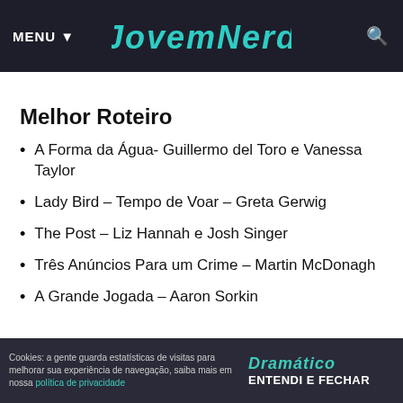MENU ▼   JOVEM NERD   🔍
Melhor Roteiro
A Forma da Água– Guillermo del Toro e Vanessa Taylor
Lady Bird – Tempo de Voar – Greta Gerwig
The Post – Liz Hannah e Josh Singer
Três Anúncios Para um Crime – Martin McDonagh
A Grande Jogada – Aaron Sorkin
Cookies: a gente guarda estatísticas de visitas para melhorar sua experiência de navegação, saiba mais em nossa política de privacidade   Dramático   ENTENDI E FECHAR